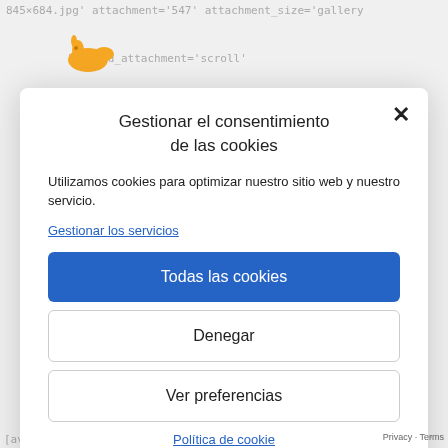845×684.jpg' attachment='547' attachment_size='gallery
[Figure (logo): Orange rabbit/duck logo icon]
kground_attachment='scroll'
Gestionar el consentimiento de las cookies
Utilizamos cookies para optimizar nuestro sitio web y nuestro servicio.
Gestionar los servicios
Todas las cookies
Denegar
Ver preferencias
Política de cookie
[Figure (screenshot): Social share icons: Facebook, Twitter, Google, Plus]
[av_iconlist position='left' iconlist_styling='av-iconlist-small'